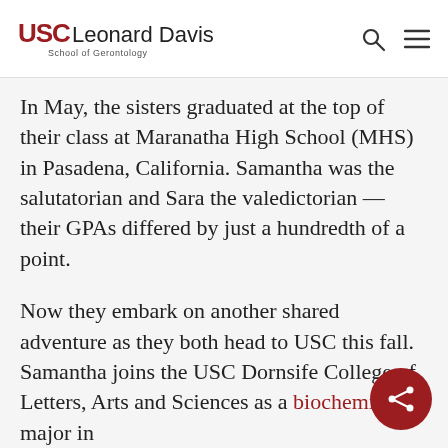USC Leonard Davis School of Gerontology
In May, the sisters graduated at the top of their class at Maranatha High School (MHS) in Pasadena, California. Samantha was the salutatorian and Sara the valedictorian — their GPAs differed by just a hundredth of a point.
Now they embark on another shared adventure as they both head to USC this fall. Samantha joins the USC Dornsife College of Letters, Arts and Sciences as a biochemistry major in